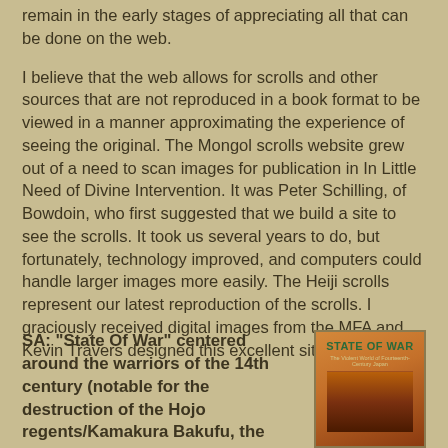remain in the early stages of appreciating all that can be done on the web.
I believe that the web allows for scrolls and other sources that are not reproduced in a book format to be viewed in a manner approximating the experience of seeing the original. The Mongol scrolls website grew out of a need to scan images for publication in In Little Need of Divine Intervention. It was Peter Schilling, of Bowdoin, who first suggested that we build a site to see the scrolls. It took us several years to do, but fortunately, technology improved, and computers could handle larger images more easily. The Heiji scrolls represent our latest reproduction of the scrolls. I graciously received digital images from the MFA and Kevin Travers designed this excellent site.
SA: “State Of War” centered around the warriors of the 14th century (notable for the destruction of the Hojo regents/Kamakura Bakufu, the
[Figure (photo): Book cover of 'State of War: The Violent World of Fourteenth-Century Japan' showing an orange/red cover with Japanese warrior imagery]